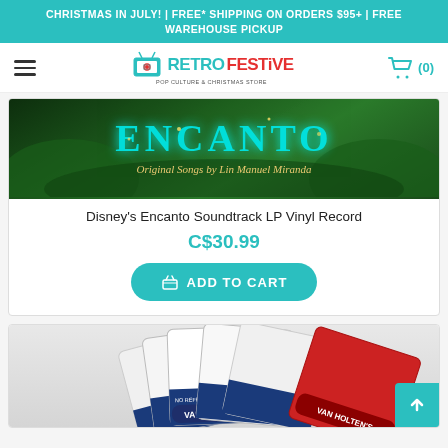CHRISTMAS IN JULY! | FREE* SHIPPING ON ORDERS $95+ | FREE WAREHOUSE PICKUP
[Figure (logo): RetroFestive Pop Culture & Christmas Store logo with TV icon, hamburger menu, and cart icon showing (0) items]
[Figure (photo): Encanto movie soundtrack album cover - dark green tropical foliage background with 'Encanto' logo in teal glowing letters and 'Original Songs by Lin Manuel Miranda' text]
Disney's Encanto Soundtrack LP Vinyl Record
C$30.99
ADD TO CART
[Figure (photo): Van Holten's pickle pouches - multiple white and blue pickle brine pouches alongside red Van Holten's branded packaging, displayed in a group]